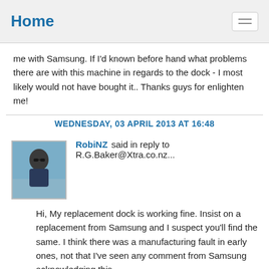Home
me with Samsung. If I'd known before hand what problems there are with this machine in regards to the dock - I most likely would not have bought it.. Thanks guys for enlighten me!
WEDNESDAY, 03 APRIL 2013 AT 16:48
RobiNZ said in reply to R.G.Baker@Xtra.co.nz...
Hi, My replacement dock is working fine. Insist on a replacement from Samsung and I suspect you'll find the same. I think there was a manufacturing fault in early ones, not that I've seen any comment from Samsung acknowledging this.